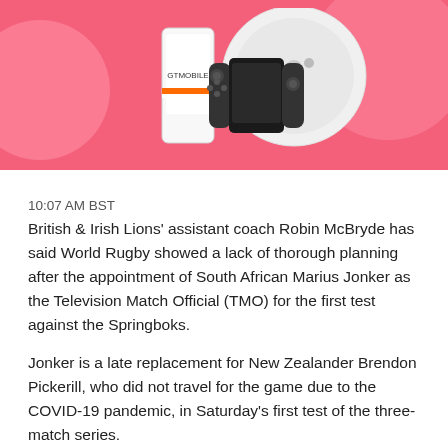[Figure (illustration): Pink/coral colored banner advertisement showing consumer electronics products including a gaming console, Nintendo Switch, and a white robot vacuum cleaner on a pink background with decorative circles.]
10:07 AM BST
British & Irish Lions' assistant coach Robin McBryde has said World Rugby showed a lack of thorough planning after the appointment of South African Marius Jonker as the Television Match Official (TMO) for the first test against the Springboks.
Jonker is a late replacement for New Zealander Brendon Pickerill, who did not travel for the game due to the COVID-19 pandemic, in Saturday's first test of the three-match series.